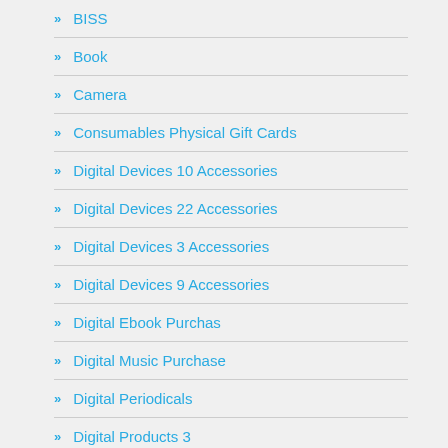BISS
Book
Camera
Consumables Physical Gift Cards
Digital Devices 10 Accessories
Digital Devices 22 Accessories
Digital Devices 3 Accessories
Digital Devices 9 Accessories
Digital Ebook Purchas
Digital Music Purchase
Digital Periodicals
Digital Products 3
Digital Software